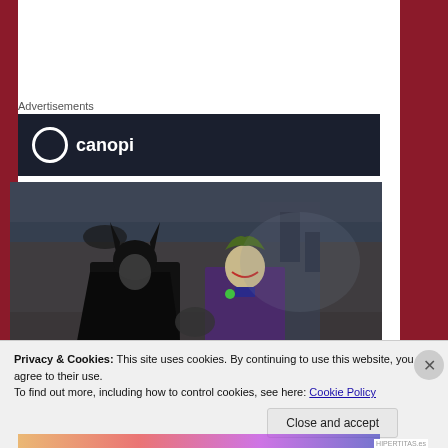Advertisements
[Figure (screenshot): Dark advertisement banner with a circular logo and partial text on dark navy background]
[Figure (photo): Movie still from Batman (1989) showing Batman and the Joker facing each other, with a cityscape background]
Privacy & Cookies: This site uses cookies. By continuing to use this website, you agree to their use.
To find out more, including how to control cookies, see here: Cookie Policy
Close and accept